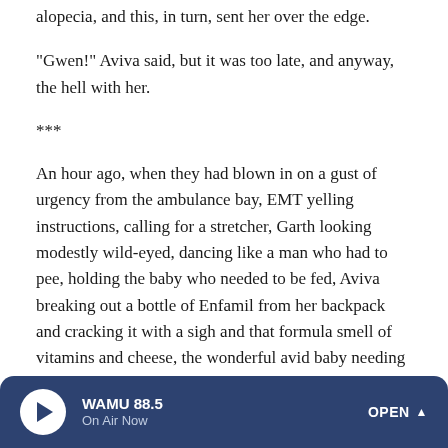alopecia, and this, in turn, sent her over the edge.
"Gwen!" Aviva said, but it was too late, and anyway, the hell with her.
***
An hour ago, when they had blown in on a gust of urgency from the ambulance bay, EMT yelling instructions, calling for a stretcher, Garth looking modestly wild-eyed, dancing like a man who had to pee, holding the baby who needed to be fed, Aviva breaking out a bottle of Enfamil from her backpack and cracking it with a sigh and that formula smell of vitamins and cheese, the wonderful avid baby needing every ounce of it — Gwen had failed to remark just how
WAMU 88.5  On Air Now  OPEN